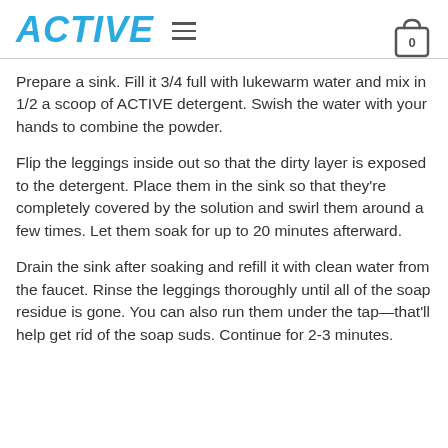ACTIVE
Prepare a sink. Fill it 3/4 full with lukewarm water and mix in 1/2 a scoop of ACTIVE detergent. Swish the water with your hands to combine the powder.
Flip the leggings inside out so that the dirty layer is exposed to the detergent. Place them in the sink so that they're completely covered by the solution and swirl them around a few times. Let them soak for up to 20 minutes afterward.
Drain the sink after soaking and refill it with clean water from the faucet. Rinse the leggings thoroughly until all of the soap residue is gone. You can also run them under the tap—that'll help get rid of the soap suds. Continue for 2-3 minutes.